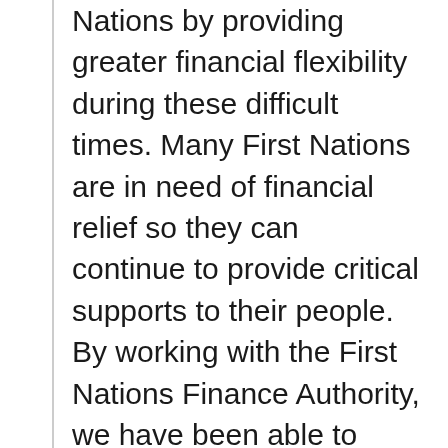Nations by providing greater financial flexibility during these difficult times. Many First Nations are in need of financial relief so they can continue to provide critical supports to their people. By working with the First Nations Finance Authority, we have been able to develop specific initiatives such as community interest relief, as well as adapt broad based federal financial supports to better support Indigenous peoples in Canada and Indigenous businesses in meeting their